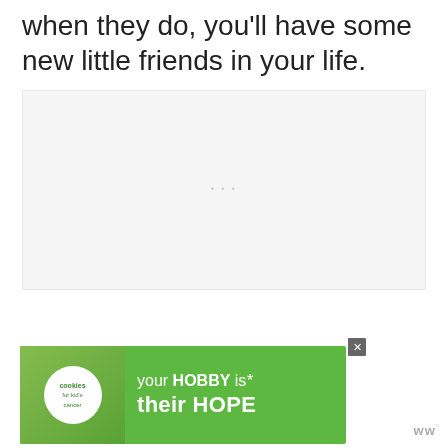when they do, you'll have some new little friends in your life.
[Figure (photo): Large light-gray placeholder image area with faint watermark text in center]
[Figure (infographic): Teal circular like/heart button, count of 3, and share button on right side]
[Figure (screenshot): Green advertisement banner for Cookies for Kid's Cancer: 'your HOBBY is their HOPE' with logo and close button]